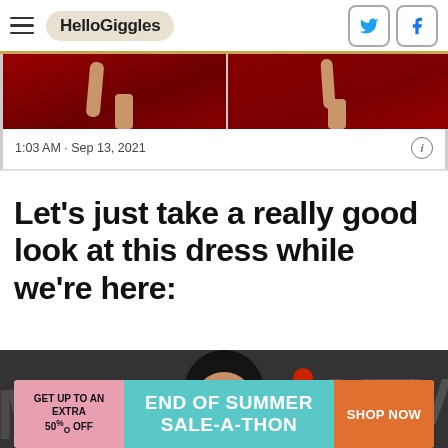HelloGiggles
[Figure (screenshot): Tweet embed showing two red carpet images side by side with timestamp 1:03 AM · Sep 13, 2021]
1:03 AM · Sep 13, 2021
Let's just take a really good look at this dress while we're here:
[Figure (photo): Photo of a person with long dark hair at MTV VMAs red carpet event, with MTV logo visible in background]
[Figure (infographic): Advertisement banner: GET UP TO AN EXTRA 50% OFF | END OF SUMMER SALE-A-THON | SHOP NOW]